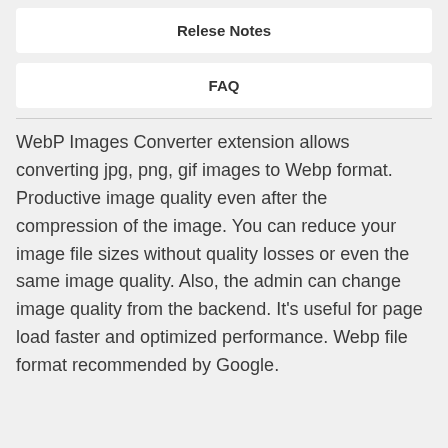Relese Notes
FAQ
WebP Images Converter extension allows converting jpg, png, gif images to Webp format. Productive image quality even after the compression of the image. You can reduce your image file sizes without quality losses or even the same image quality. Also, the admin can change image quality from the backend. It's useful for page load faster and optimized performance. Webp file format recommended by Google.